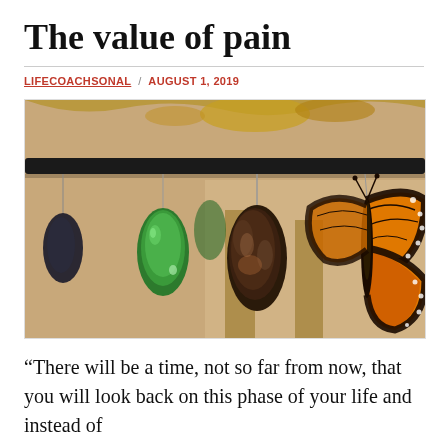The value of pain
LIFECOACHSONAL / AUGUST 1, 2019
[Figure (photo): Photograph of monarch butterfly chrysalis stages hanging from a bar: a bright green chrysalis on the left, a dark/brown chrysalis in the middle, and a fully emerged monarch butterfly with orange and black wings on the right.]
“There will be a time, not so far from now, that you will look back on this phase of your life and instead of